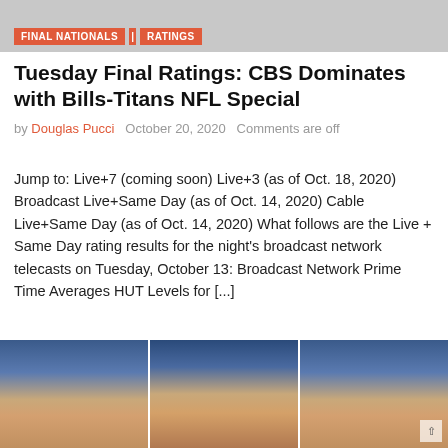[Figure (photo): Gray banner image at top of page]
FINAL NATIONALS | RATINGS
Tuesday Final Ratings: CBS Dominates with Bills-Titans NFL Special
by Douglas Pucci   October 20, 2020   Comments are off
Jump to: Live+7 (coming soon) Live+3 (as of Oct. 18, 2020) Broadcast Live+Same Day (as of Oct. 14, 2020) Cable Live+Same Day (as of Oct. 14, 2020) What follows are the Live + Same Day rating results for the night's broadcast network telecasts on Tuesday, October 13: Broadcast Network Prime Time Averages HUT Levels for [...]
Read more
[Figure (photo): Three-panel photo showing political debate figures, two images of Trump on left and right, Biden in center]